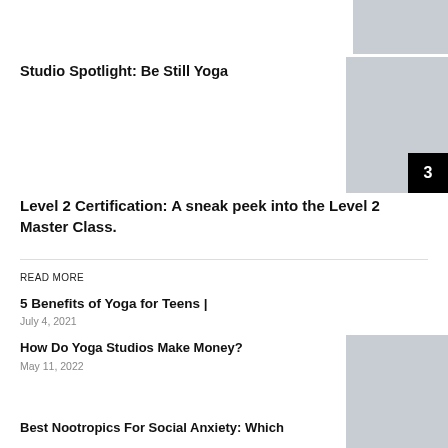[Figure (photo): Gray placeholder image at top right, partially cropped]
Studio Spotlight: Be Still Yoga
[Figure (photo): Gray placeholder image with page number 3 in black box at bottom right]
Level 2 Certification: A sneak peek into the Level 2 Master Class.
READ MORE
5 Benefits of Yoga for Teens |
July 4, 2021
How Do Yoga Studios Make Money?
May 11, 2022
[Figure (photo): Gray placeholder image for yoga studios article]
Best Nootropics For Social Anxiety: Which
[Figure (photo): Gray placeholder image for nootropics article]